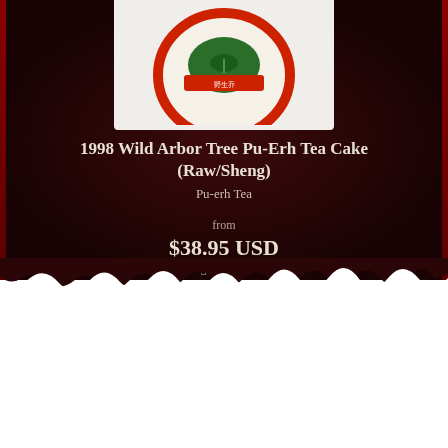[Figure (photo): A round Pu-erh tea cake displayed on a wooden stand against a white background. The cake has red border with green Chinese characters label on top.]
1998 Wild Arbor Tree Pu-Erh Tea Cake (Raw/Sheng)
Pu-erh Tea
from
$38.95 USD
3 reviews
Quantity
1
Add To Cart